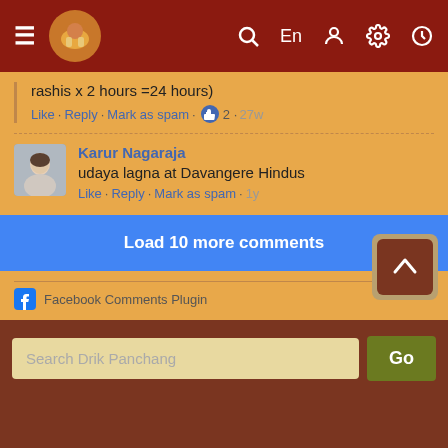[Figure (screenshot): Top navigation bar with hamburger menu, logo, search, language, user, settings, and clock icons on dark red background]
rashis x 2 hours =24 hours)
Like · Reply · Mark as spam · 2 · 27w
Karur Nagaraja
udaya lagna at Davangere Hindus
Like · Reply · Mark as spam · 1y
Load 10 more comments
Facebook Comments Plugin
Search Drik Panchang
Go